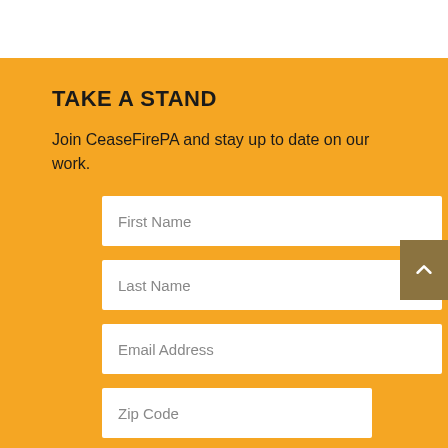TAKE A STAND
Join CeaseFirePA and stay up to date on our work.
[Figure (other): Web form with four input fields: First Name, Last Name, Email Address, Zip Code on a yellow background, with a scroll-to-top button in the bottom right corner.]